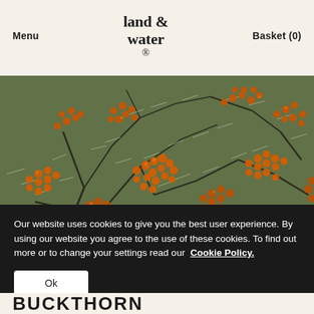Menu  land & water.  Basket (0)
[Figure (photo): Close-up photograph of sea buckthorn branches densely covered with bright orange berries and narrow silvery-green leaves against a blurred natural background.]
Our website uses cookies to give you the best user experience. By using our website you agree to the use of these cookies. To find out more or to change your settings read our  Cookie Policy.
Ok
BUCKTHORN